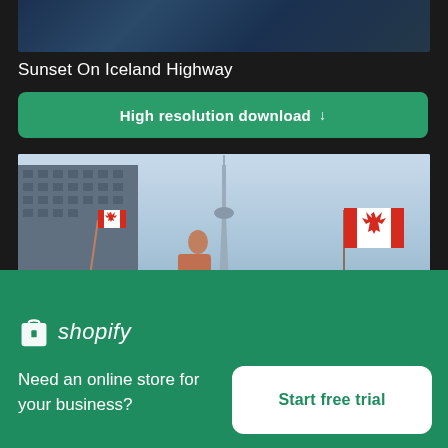[Figure (photo): Partial view of a sunset or dark sky scene, top portion of stock photo]
Sunset On Iceland Highway
High resolution download ↓
[Figure (photo): Photo of people waving Canadian flags in front of a building with the CN Tower visible in the background against a blue sky]
×
[Figure (logo): Shopify logo with shopping bag icon and italic shopify text in white]
Need an online store for your business?
Start free trial